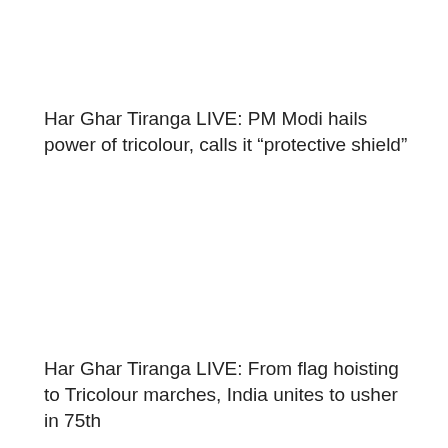Har Ghar Tiranga LIVE: PM Modi hails power of tricolour, calls it “protective shield”
Har Ghar Tiranga LIVE: From flag hoisting to Tricolour marches, India unites to usher in 75th